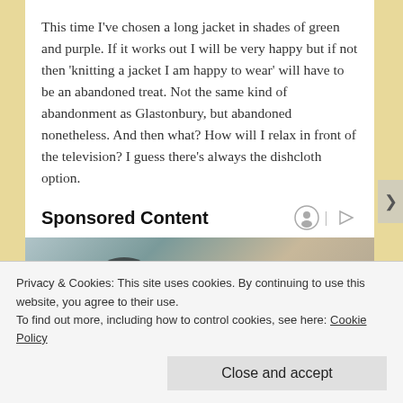This time I've chosen a long jacket in shades of green and purple. If it works out I will be very happy but if not then 'knitting a jacket I am happy to wear' will have to be an abandoned treat. Not the same kind of abandonment as Glastonbury, but abandoned nonetheless. And then what? How will I relax in front of the television? I guess there's always the dishcloth option.
Sponsored Content
[Figure (photo): Two people wearing sunglasses seated in stadium/arena seating. Man with beard on left, woman with brown hair on right.]
Privacy & Cookies: This site uses cookies. By continuing to use this website, you agree to their use.
To find out more, including how to control cookies, see here: Cookie Policy
Close and accept